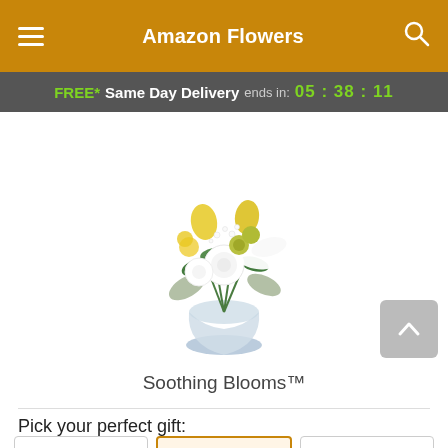Amazon Flowers
FREE* Same Day Delivery ends in: 05 : 38 : 11
[Figure (photo): A round glass vase with a floral arrangement of white roses, white lilies, yellow tulips, yellow freesia, green button mums, baby's breath, and dusty miller foliage — the Soothing Blooms bouquet.]
Soothing Blooms™
Pick your perfect gift: